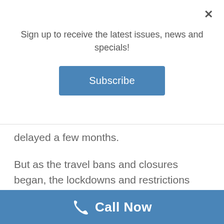Sign up to receive the latest issues, news and specials!
Subscribe
delayed a few months.
But as the travel bans and closures began, the lockdowns and restrictions followed, and Kim’s life was turned topsy-turvy.
“After six months, it became clear that I needed to refocus and readjust,” she says. “Then after 12 months, I knew I had to completely change myself and my expectations.
Call Now